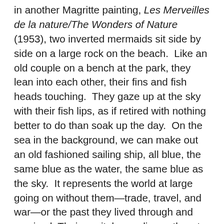in another Magritte painting, Les Merveilles de la nature/The Wonders of Nature (1953), two inverted mermaids sit side by side on a large rock on the beach.  Like an old couple on a bench at the park, they lean into each other, their fins and fish heads touching.  They gaze up at the sky with their fish lips, as if retired with nothing better to do than soak up the day.  On the sea in the background, we can make out an old fashioned sailing ship, all blue, the same blue as the water, the same blue as the sky.  It represents the world at large going on without them—trade, travel, and war—or the past they lived through and survived. Their genitals are discreetly out of sight between their legs so that only legs and feet serve as markers of gender. "She" is not very tall (long) so she can touch only her toes to the sand, but not her heels. Her feet are slightly arched as if wearing invisible high-heeled shoes. "His" longer legs allow his feet to fully touch the ground.